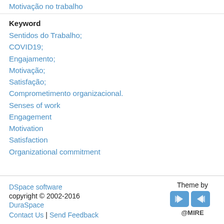Motivação no trabalho
Keyword
Sentidos do Trabalho;
COVID19;
Engajamento;
Motivação;
Satisfação;
Comprometimento organizacional.
Senses of work
Engagement
Motivation
Satisfaction
Organizational commitment
DSpace software copyright © 2002-2016 DuraSpace Contact Us | Send Feedback Theme by @MIRE